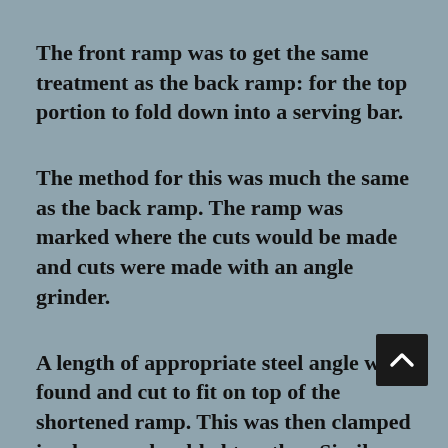The front ramp was to get the same treatment as the back ramp: for the top portion to fold down into a serving bar.
The method for this was much the same as the back ramp. The ramp was marked where the cuts would be made and cuts were made with an angle grinder.
A length of appropriate steel angle was found and cut to fit on top of the shortened ramp. This was then clamped in place, and welded together. Similar steel angle was then welded